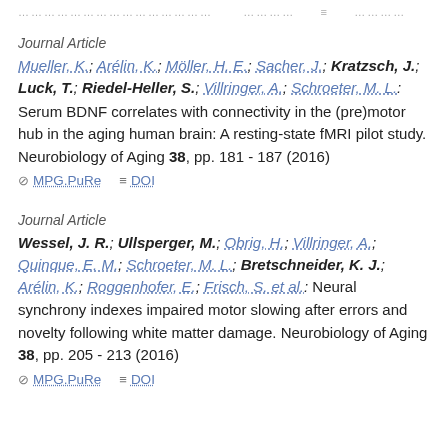…………………………………… ………… ≡ …………
Journal Article
Mueller, K.; Arélin, K.; Möller, H. E.; Sacher, J.; Kratzsch, J.; Luck, T.; Riedel-Heller, S.; Villringer, A.; Schroeter, M. L.: Serum BDNF correlates with connectivity in the (pre)motor hub in the aging human brain: A resting-state fMRI pilot study. Neurobiology of Aging 38, pp. 181 - 187 (2016)
⊘ MPG.PuRe   ≡ DOI
Journal Article
Wessel, J. R.; Ullsperger, M.; Obrig, H.; Villringer, A.; Quinque, E. M.; Schroeter, M. L.; Bretschneider, K. J.; Arélin, K.; Roggenhofer, E.; Frisch, S. et al.: Neural synchrony indexes impaired motor slowing after errors and novelty following white matter damage. Neurobiology of Aging 38, pp. 205 - 213 (2016)
⊘ MPG.PuRe   ≡ DOI